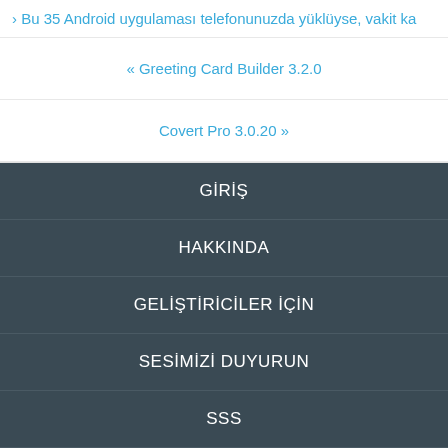› Bu 35 Android uygulaması telefonunuzda yüklüyse, vakit ka
« Greeting Card Builder 3.2.0
Covert Pro 3.0.20 »
GİRİŞ
HAKKINDA
GELİŞTİRİCİLER İÇİN
SESİMİZİ DUYURUN
SSS
E-POSTA ABONELİK
İLETİŞİM FORMU
FORUM